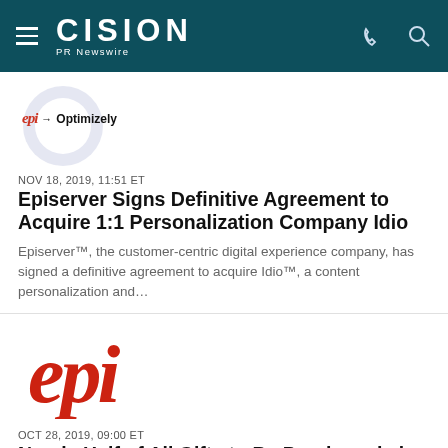CISION PR Newswire
[Figure (logo): Episerver to Optimizely logo with circular badge]
NOV 18, 2019, 11:51 ET
Episerver Signs Definitive Agreement to Acquire 1:1 Personalization Company Idio
Episerver™, the customer-centric digital experience company, has signed a definitive agreement to acquire Idio™, a content personalization and…
[Figure (logo): Episerver red cursive epi logo large]
OCT 28, 2019, 09:00 ET
Nearly Half of All Gifts to Be Purchased via Amazon this Holiday Season